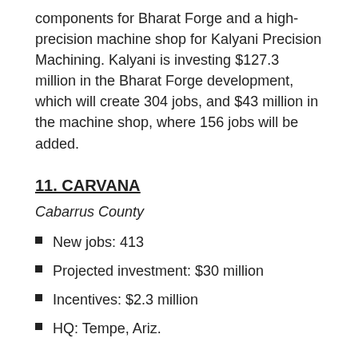components for Bharat Forge and a high-precision machine shop for Kalyani Precision Machining. Kalyani is investing $127.3 million in the Bharat Forge development, which will create 304 jobs, and $43 million in the machine shop, where 156 jobs will be added.
11. CARVANA
Cabarrus County
New jobs: 413
Projected investment: $30 million
Incentives: $2.3 million
HQ: Tempe, Ariz.